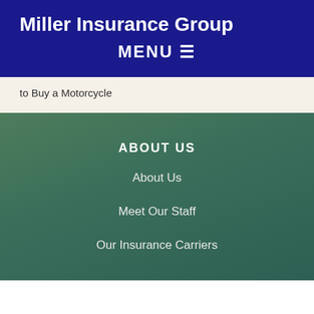Miller Insurance Group
MENU ☰
to Buy a Motorcycle
ABOUT US
About Us
Meet Our Staff
Our Insurance Carriers